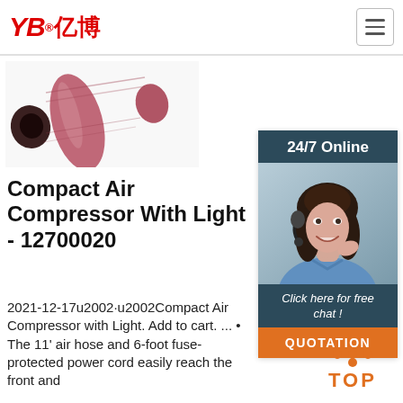[Figure (logo): YB亿博 logo in red italic text with registered trademark symbol]
[Figure (photo): Pink/red cylindrical air compressor hose fitting or coupling, viewed from the end at an angle]
[Figure (photo): 24/7 Online customer service chat widget with woman wearing headset, Click here for free chat!, and QUOTATION button]
Compact Air Compressor With Light - 12700020
2021-12-17u2002·u2002Compact Air Compressor with Light. Add to cart. ... • The 11' air hose and 6-foot fuse-protected power cord easily reach the front and
[Figure (other): Orange TOP button with dots arranged in triangle shape above the word TOP]